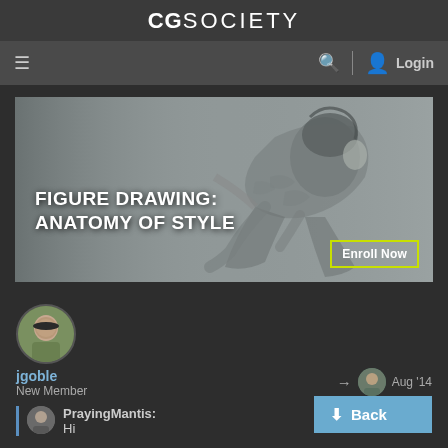CGSOCIETY
[Figure (screenshot): Navigation bar with hamburger menu, search icon, divider, user icon and Login text]
[Figure (illustration): Hero banner for 'Figure Drawing: Anatomy of Style' course with a pencil sketch of a human figure in grayscale, with an 'Enroll Now' button]
[Figure (photo): Circular avatar photo of user jgoble showing a bald man outdoors]
jgoble
New Member
[Figure (photo): Small circular avatar of another user (reply target)]
Aug '14
Back
61 / 146
[Figure (photo): Small circular avatar of PrayingMantis user]
PrayingMantis:
Hi